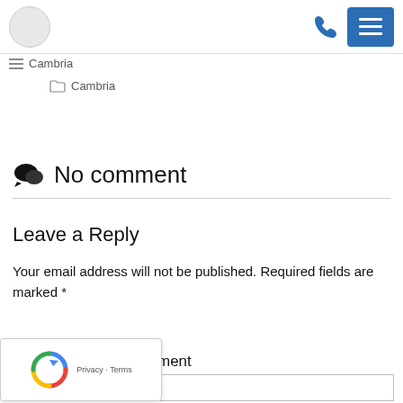Cambria
Cambria
No comment
Leave a Reply
Your email address will not be published. Required fields are marked *
ment